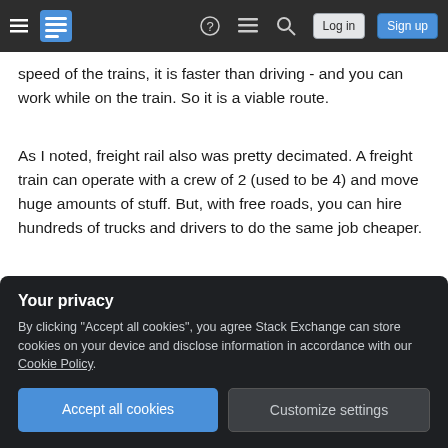Stack Exchange navigation bar with hamburger menu, logo, icons, Log in, Sign up
speed of the trains, it is faster than driving - and you can work while on the train. So it is a viable route.
As I noted, freight rail also was pretty decimated. A freight train can operate with a crew of 2 (used to be 4) and move huge amounts of stuff. But, with free roads, you can hire hundreds of trucks and drivers to do the same job cheaper.
The answers would be (1) toll roads that cover their own cost; (2) a fuel tax that evens the playing field
Your privacy
By clicking "Accept all cookies", you agree Stack Exchange can store cookies on your device and disclose information in accordance with our Cookie Policy.
Accept all cookies   Customize settings